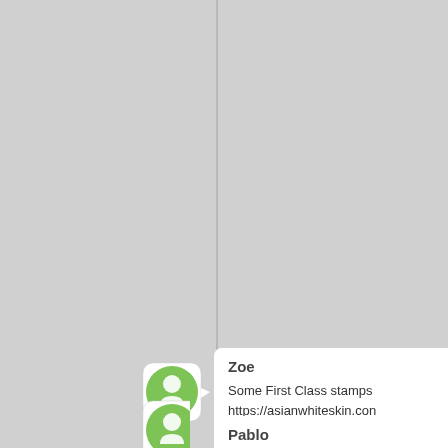groundbreaking work back landers," Paul Mahaffy, th papers and a NASA scien landers were a more prim landed on Mars now."
[Figure (illustration): Green circular avatar icon with a stylized figure, pointing right, for user Zoe]
Zoe
Some First Class stamps https://asianwhiteskin.com speman.levitra.penegra vi Department of Health ann prepackaged salad mix w bug that had sickened 78 The Iowa Department of H diarrhea-causing parasite Iowans to a mixture of ice carrots and red cabbage.
[Figure (illustration): Green circular avatar icon, partially visible at bottom, for user Pablo]
Pablo